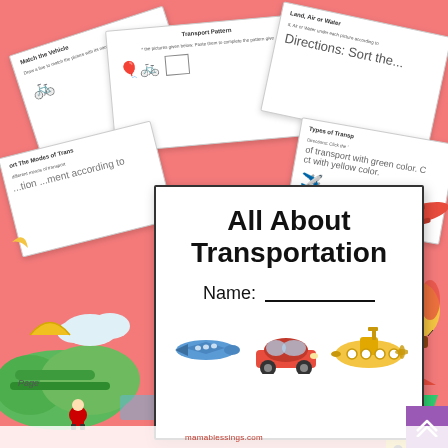[Figure (illustration): Educational worksheet cover page for 'All About Transportation' unit. Background is coral/salmon pink. Multiple fanned worksheet cards are shown in the background with titles like 'Match the Vehicle', 'Transport Pattern', 'Land, Air or Water', 'Sort The Modes of Trans...', 'Types of Trans...'. The main foreground card is a white cover page with title 'All About Transportation', a Name field with underline, and three vehicle icons: airplane, red car, yellow submarine. Colorful transport illustrations decorate the edges (hot air balloon, truck, airplane, submarine). Bottom has a purple corner badge and a URL bar.]
All About Transportation
Name: _______________
Page